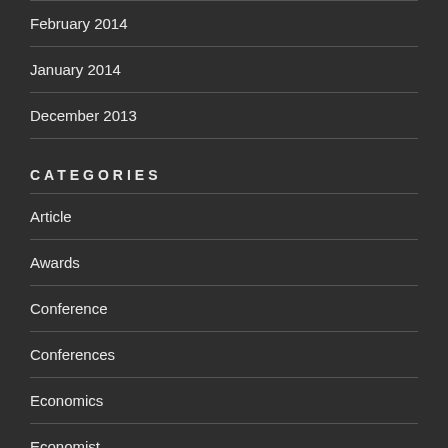February 2014
January 2014
December 2013
CATEGORIES
Article
Awards
Conference
Conferences
Economics
Economist